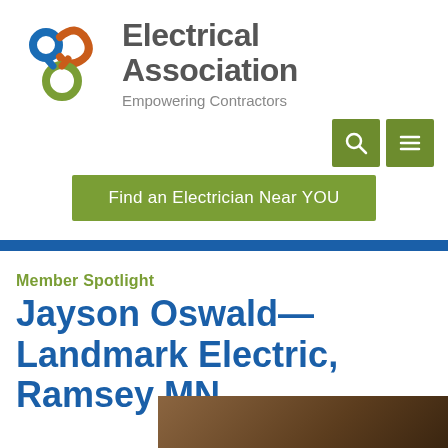[Figure (logo): Electrical Association logo with interlocking colored loops (blue, orange, green) and text 'Electrical Association' with tagline 'Empowering Contractors']
[Figure (screenshot): Navigation bar with green search icon button and green hamburger menu button]
[Figure (screenshot): Green button labeled 'Find an Electrician Near YOU']
Member Spotlight
Jayson Oswald—Landmark Electric, Ramsey MN
[Figure (photo): Partial photo visible at bottom right of page, appears to be a brown/wooden background]